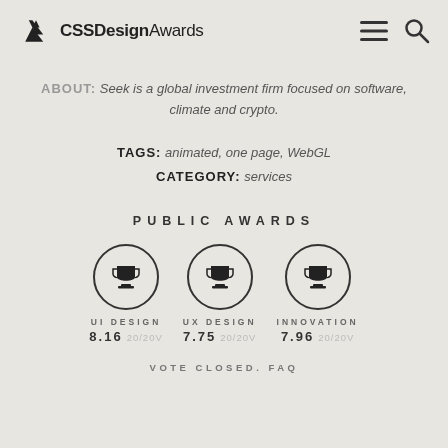CSS Design Awards
ABOUT: Seek is a global investment firm focused on software, climate and crypto.
TAGS: animated, one page, WebGL
CATEGORY: services
PUBLIC AWARDS
[Figure (infographic): Three trophy award circles for UI DESIGN (8.16, 20/20V), UX DESIGN (7.75, 20/20V), and INNOVATION (7.96, 20/20V)]
VOTE CLOSED. FAQ